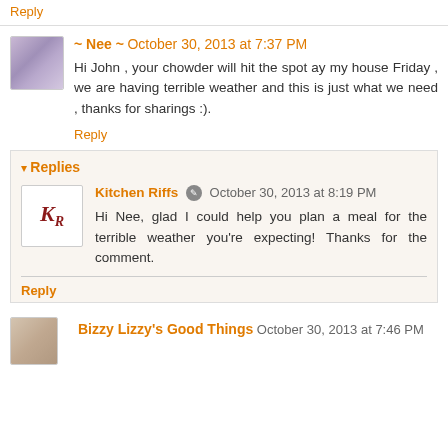Reply
~ Nee ~ October 30, 2013 at 7:37 PM
Hi John , your chowder will hit the spot ay my house Friday , we are having terrible weather and this is just what we need , thanks for sharings :).
Reply
Replies
Kitchen Riffs October 30, 2013 at 8:19 PM
Hi Nee, glad I could help you plan a meal for the terrible weather you're expecting! Thanks for the comment.
Reply
Bizzy Lizzy's Good Things October 30, 2013 at 7:46 PM